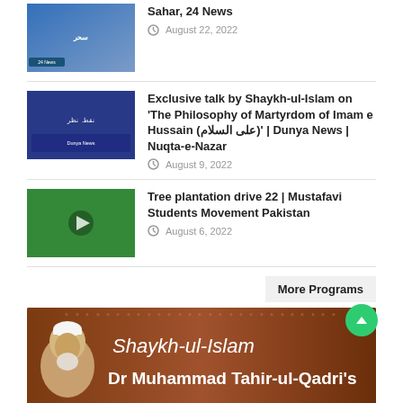[Figure (screenshot): Thumbnail image for a TV program - Sahar 24 News]
Sahar, 24 News
August 22, 2022
[Figure (screenshot): Thumbnail image for Exclusive talk by Shaykh-ul-Islam - Dunya News]
Exclusive talk by Shaykh-ul-Islam on 'The Philosophy of Martyrdom of Imam e Hussain (علی السلام)' | Dunya News | Nuqta-e-Nazar
August 9, 2022
[Figure (screenshot): Thumbnail image for Tree plantation drive 22 - Mustafavi Students Movement]
Tree plantation drive 22 | Mustafavi Students Movement Pakistan
August 6, 2022
More Programs
[Figure (illustration): Banner for Shaykh-ul-Islam Dr Muhammad Tahir-ul-Qadri's programs with brown background and figure of the Shaykh]
[Figure (illustration): Banner with red background saying 'we want to CHANGE' with Pakistani flag design]